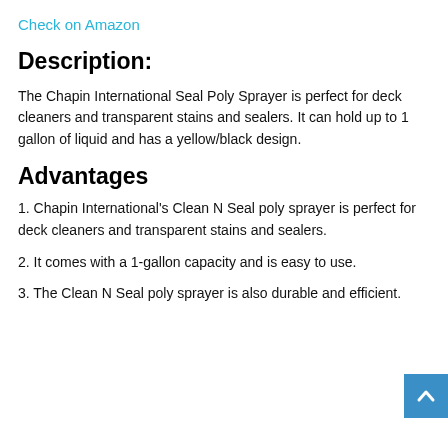Check on Amazon
Description:
The Chapin International Seal Poly Sprayer is perfect for deck cleaners and transparent stains and sealers. It can hold up to 1 gallon of liquid and has a yellow/black design.
Advantages
1. Chapin International's Clean N Seal poly sprayer is perfect for deck cleaners and transparent stains and sealers.
2. It comes with a 1-gallon capacity and is easy to use.
3. The Clean N Seal poly sprayer is also durable and efficient.